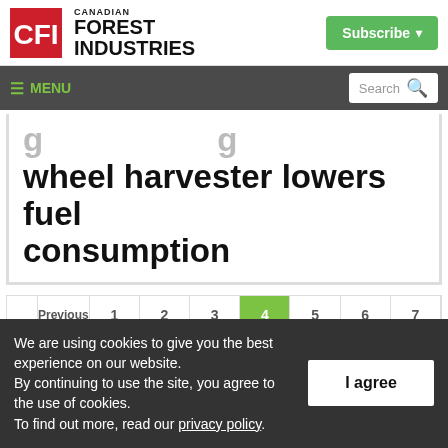Canadian Forest Industries — Subscribe
≡ MENU | Search
...wheel harvester lowers fuel consumption
We are using cookies to give you the best experience on our website. By continuing to use the site, you agree to the use of cookies. To find out more, read our privacy policy.